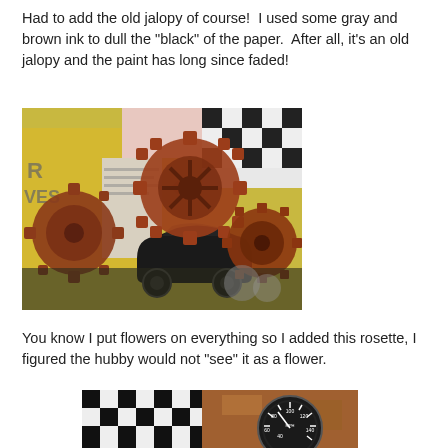Had to add the old jalopy of course!  I used some gray and brown ink to dull the "black" of the paper.  After all, it's an old jalopy and the paint has long since faded!
[Figure (photo): Photo of craft project showing rusty steampunk-style gear decorations and a black car die-cut shape on a collaged background with yellow, black/white checkered, and newspaper-print papers.]
You know I put flowers on everything so I added this rosette, I figured the hubby would not "see" it as a flower.
[Figure (photo): Partial photo showing a craft project with a black and white checkered pattern piece and a speedometer gauge showing MPH markings (40, 60, 80, 100, 120, 140) on a rust-colored background.]